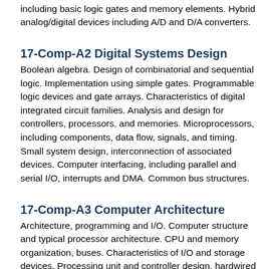including basic logic gates and memory elements. Hybrid analog/digital devices including A/D and D/A converters.
17-Comp-A2 Digital Systems Design
Boolean algebra.  Design of combinatorial and sequential logic.   Implementation using simple gates.  Programmable logic devices and gate arrays.  Characteristics of digital integrated circuit families. Analysis and design for controllers, processors, and memories.  Microprocessors, including components, data flow, signals, and timing.  Small system design, interconnection of associated devices.  Computer interfacing, including parallel and serial I/O, interrupts and DMA.  Common bus structures.
17-Comp-A3 Computer Architecture
Architecture, programming and I/O. Computer structure and typical processor architecture.  CPU and memory organization, buses.  Characteristics of I/O and storage devices.  Processing unit and controller design, hardwired